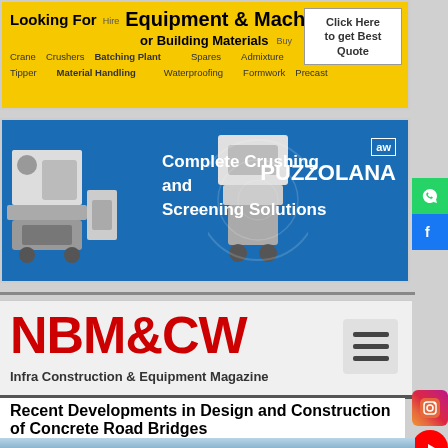[Figure (infographic): Yellow banner advertisement for construction equipment and machinery - Looking For Equipment & Machinery or Building Materials with items like Crane, Tipper, Crushers, Batching Plant, Spares, Material Handling, Waterproofing, Scaffolding, Precast, Formwork. Click Here to get Best Quote button.]
[Figure (infographic): Blue banner advertisement for Puzzolana - Complete Crushing and Screening Solutions with crusher machine images on left and right, Puzzolana logo on right side.]
[Figure (logo): NBM&CW Infra Construction & Equipment Magazine logo in red with hamburger menu icon]
Recent Developments in Design and Construction of Concrete Road Bridges
[Figure (photo): Underside view of a concrete road bridge against a sky background with trees visible]